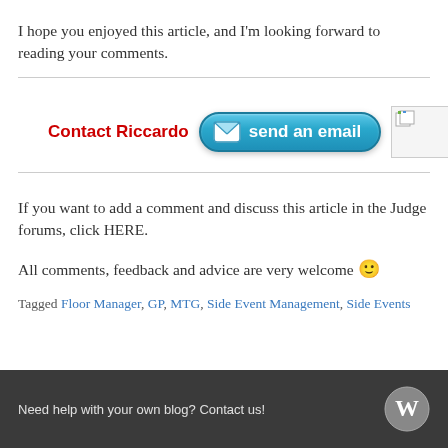I hope you enjoyed this article, and I'm looking forward to reading your comments.
[Figure (other): Contact Riccardo section with red bold text 'Contact Riccardo', a blue rounded email button labeled 'send an email' with envelope icon, and a small image placeholder with a document icon]
If you want to add a comment and discuss this article in the Judge forums, click HERE.
All comments, feedback and advice are very welcome 🙂
Tagged Floor Manager, GP, MTG, Side Event Management, Side Events
Need help with your own blog? Contact us!